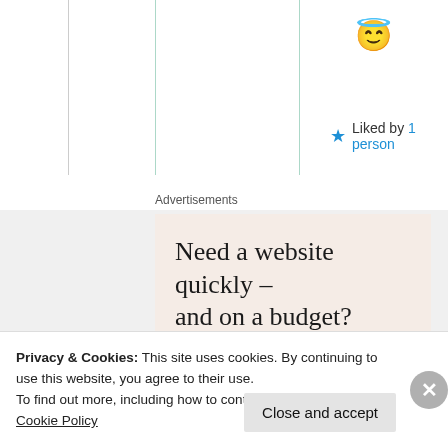[Figure (illustration): Emoji angel face with halo]
★ Liked by 1 person
Advertisements
[Figure (infographic): Advertisement: Need a website quickly – and on a budget? Let us build it for you. Button: Let's get started. Photo of person typing on laptop.]
Privacy & Cookies: This site uses cookies. By continuing to use this website, you agree to their use. To find out more, including how to control cookies, see here: Cookie Policy
Close and accept